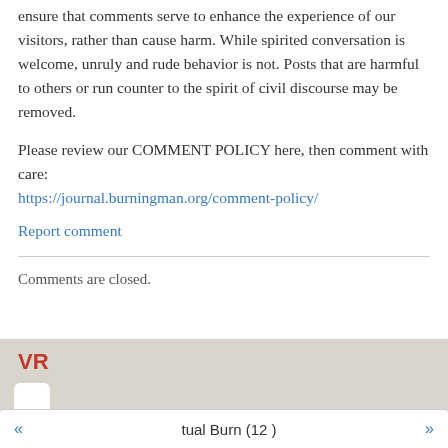ensure that comments serve to enhance the experience of our visitors, rather than cause harm. While spirited conversation is welcome, unruly and rude behavior is not. Posts that are harmful to others or run counter to the spirit of civil discourse may be removed.
Please review our COMMENT POLICY here, then comment with care: https://journal.burningman.org/comment-policy/
Report comment
Comments are closed.
VR
« tual Burn (12 ) »